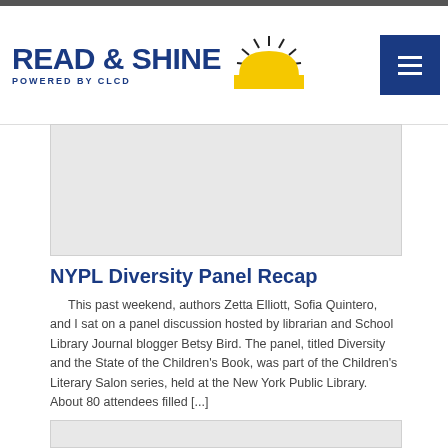READ & SHINE POWERED BY CLCD
[Figure (photo): Gray placeholder image for article thumbnail]
NYPL Diversity Panel Recap
This past weekend, authors Zetta Elliott, Sofia Quintero, and I sat on a panel discussion hosted by librarian and School Library Journal blogger Betsy Bird. The panel, titled Diversity and the State of the Children's Book, was part of the Children's Literary Salon series, held at the New York Public Library. About 80 attendees filled [...]
Read More